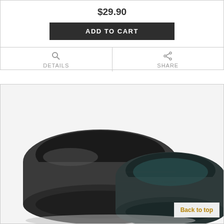$29.90
ADD TO CART
DETAILS
SHARE
[Figure (photo): Two wide dark/oxidized silver band rings photographed on a white background, overlapping each other.]
Back to top